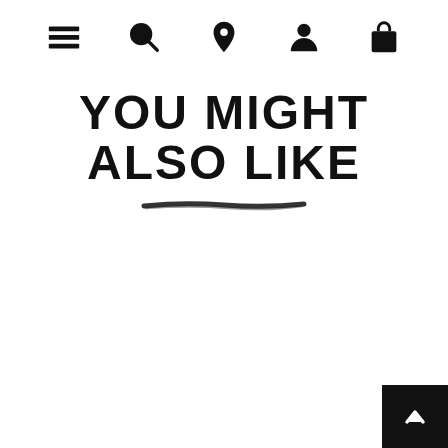Navigation icons: menu, search, location, user, cart
YOU MIGHT ALSO LIKE
Ankle Wrap Gladiator Sandal (WW)
Espadrille Flat Sandal (WW)